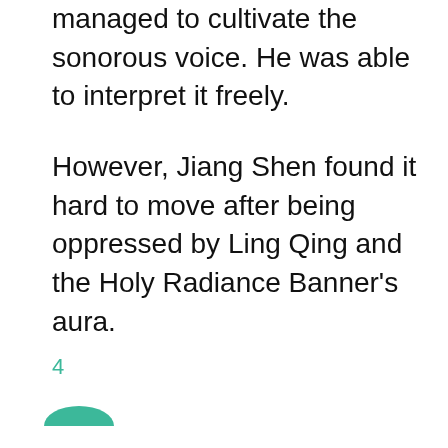managed to cultivate the sonorous voice. He was able to interpret it freely.
However, Jiang Shen found it hard to move after being oppressed by Ling Qing and the Holy Radiance Banner's aura.
4